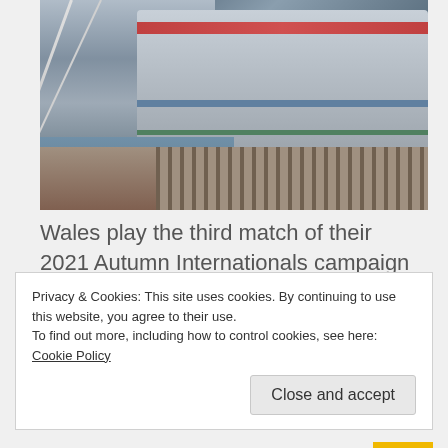[Figure (photo): Aerial/ground-level view of a large stadium (Millennium Stadium / Principality Stadium) with a distinctive arched cable structure, red and blue stripe details on the facade, and a waterfront/pier area in the foreground. Cloudy sky visible on the left.]
Wales play the third match of their 2021 Autumn Internationals campaign as face the Fiji at the Millennium Stadium. The sides last met in a
Privacy & Cookies: This site uses cookies. By continuing to use this website, you agree to their use.
To find out more, including how to control cookies, see here: Cookie Policy
Close and accept